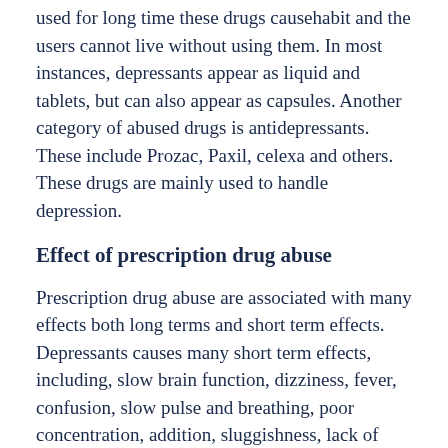used for long time these drugs causehabit and the users cannot live without using them. In most instances, depressants appear as liquid and tablets, but can also appear as capsules. Another category of abused drugs is antidepressants. These include Prozac, Paxil, celexa and others. These drugs are mainly used to handle depression.
Effect of prescription drug abuse
Prescription drug abuse are associated with many effects both long terms and short term effects. Depressants causes many short term effects, including, slow brain function, dizziness, fever, confusion, slow pulse and breathing, poor concentration, addition, sluggishness, lack of coordination, lowered blood pressure and